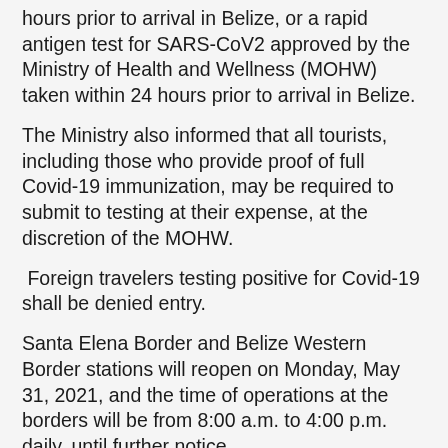hours prior to arrival in Belize, or a rapid antigen test for SARS-CoV2 approved by the Ministry of Health and Wellness (MOHW) taken within 24 hours prior to arrival in Belize.
The Ministry also informed that all tourists, including those who provide proof of full Covid-19 immunization, may be required to submit to testing at their expense, at the discretion of the MOHW.
Foreign travelers testing positive for Covid-19 shall be denied entry.
Santa Elena Border and Belize Western Border stations will reopen on Monday, May 31, 2021, and the time of operations at the borders will be from 8:00 a.m. to 4:00 p.m. daily, until further notice.